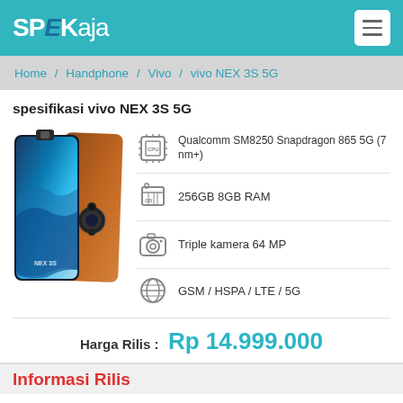SPEKaja
Home / Handphone / Vivo / vivo NEX 3S 5G
spesifikasi vivo NEX 3S 5G
[Figure (photo): Photo of vivo NEX 3S 5G smartphone showing front and back]
Qualcomm SM8250 Snapdragon 865 5G (7 nm+)
256GB 8GB RAM
Triple kamera 64 MP
GSM / HSPA / LTE / 5G
Harga Rilis : Rp 14.999.000
Informasi Rilis
Diumumkan    10 Maret 2020